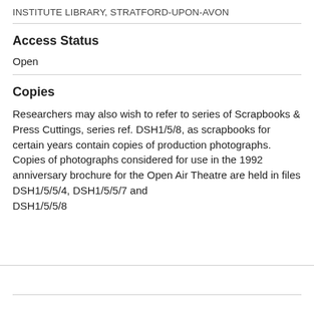INSTITUTE LIBRARY, STRATFORD-UPON-AVON
Access Status
Open
Copies
Researchers may also wish to refer to series of Scrapbooks & Press Cuttings, series ref. DSH1/5/8, as scrapbooks for certain years contain copies of production photographs. Copies of photographs considered for use in the 1992 anniversary brochure for the Open Air Theatre are held in files DSH1/5/5/4, DSH1/5/5/7 and DSH1/5/5/8